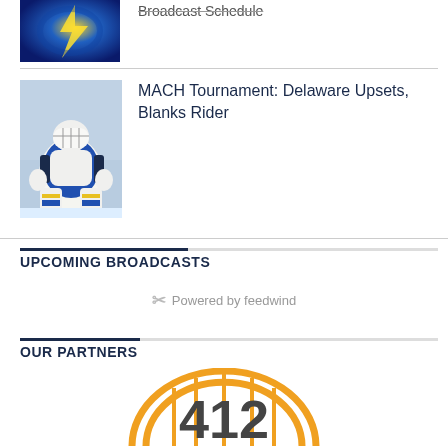[Figure (photo): Blue and yellow abstract graphic, partial view at top]
Broadcast Schedule
[Figure (photo): Hockey goalie in blue and yellow uniform making a save]
MACH Tournament: Delaware Upsets, Blanks Rider
UPCOMING BROADCASTS
Powered by feedwind
OUR PARTNERS
[Figure (logo): 412 bridge logo with orange arc and vertical lines]